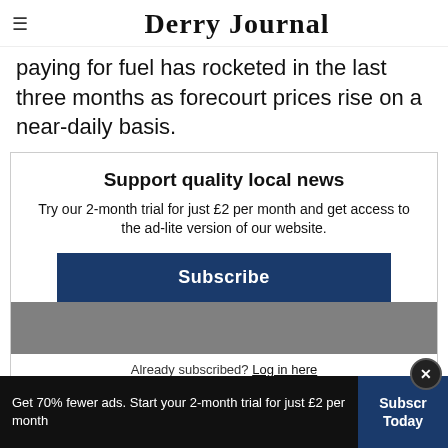Derry Journal
paying for fuel has rocketed in the last three months as forecourt prices rise on a near-daily basis.
Support quality local news
Try our 2-month trial for just £2 per month and get access to the ad-lite version of our website.
Subscribe
Already subscribed? Log in here
Get 70% fewer ads. Start your 2-month trial for just £2 per month  Subscribe Today